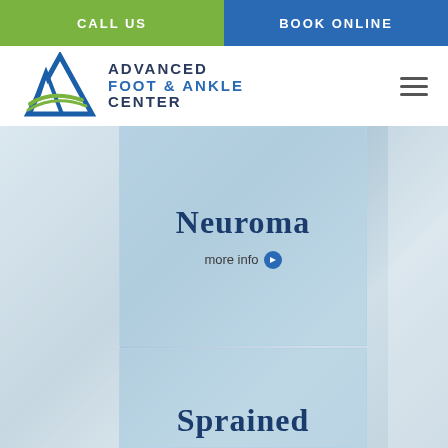CALL US
BOOK ONLINE
[Figure (logo): Advanced Foot & Ankle Center logo with blue letter A and green swoosh]
Neuroma
more info
Sprained